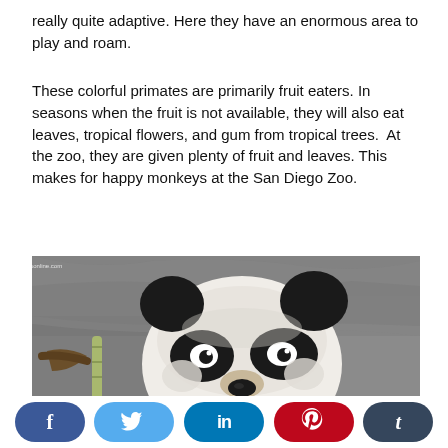really quite adaptive. Here they have an enormous area to play and roam.
These colorful primates are primarily fruit eaters. In seasons when the fruit is not available, they will also eat leaves, tropical flowers, and gum from tropical trees.  At the zoo, they are given plenty of fruit and leaves. This makes for happy monkeys at the San Diego Zoo.
[Figure (photo): Close-up photo of a giant panda bear eating bamboo, with a blurred grey rocky background. The panda has distinctive black ears and eye patches against white fur.]
[Figure (infographic): Social media sharing bar with buttons for Facebook (f), Twitter (bird icon), LinkedIn (in), Pinterest (P), and Tumblr (t).]